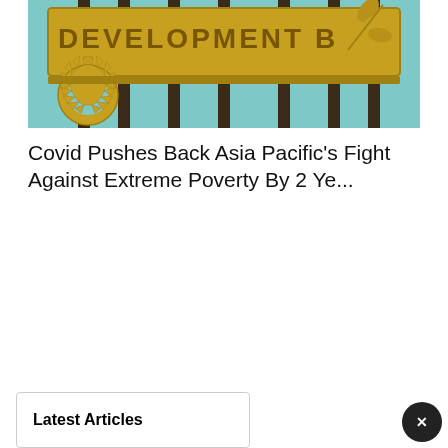[Figure (photo): Photo of an Asian Development Bank metal logo sign with golden gear/cog and wheat/laurel motif, mounted on vertical bars, against a teal/mint green background. The text on the sign reads 'DEVELOPMENT B...' (partially visible, cut off at top).]
Covid Pushes Back Asia Pacific's Fight Against Extreme Poverty By 2 Ye...
Latest Articles